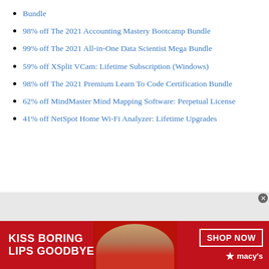Bundle
98% off The 2021 Accounting Mastery Bootcamp Bundle
99% off The 2021 All-in-One Data Scientist Mega Bundle
59% off XSplit VCam: Lifetime Subscription (Windows)
98% off The 2021 Premium Learn To Code Certification Bundle
62% off MindMaster Mind Mapping Software: Perpetual License
41% off NetSpot Home Wi-Fi Analyzer: Lifetime Upgrades
[Figure (photo): Advertisement banner: Macy's lipstick ad with red background, woman's face with red lips, text 'KISS BORING LIPS GOODBYE' and 'SHOP NOW' button with Macy's star logo]